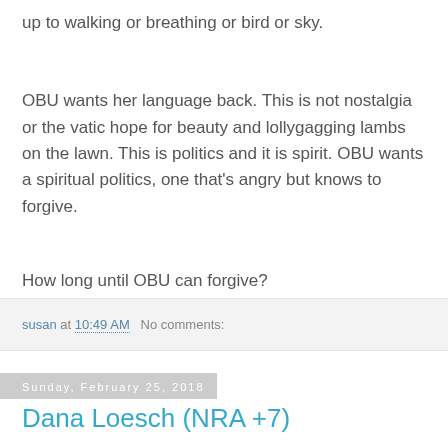up to walking or breathing or bird or sky.
OBU wants her language back. This is not nostalgia or the vatic hope for beauty and lollygagging lambs on the lawn. This is politics and it is spirit. OBU wants a spiritual politics, one that's angry but knows to forgive.
How long until OBU can forgive?
susan at 10:49 AM   No comments:
Sunday, February 25, 2018
Dana Loesch (NRA +7)